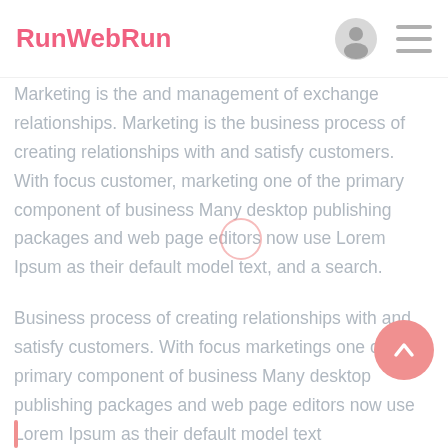RunWebRun
Marketing is the and management of exchange relationships. Marketing is the business process of creating relationships with and satisfy customers. With focus customer, marketing one of the primary component of business Many desktop publishing packages and web page editors now use Lorem Ipsum as their default model text, and a search.
Business process of creating relationships with and satisfy customers. With focus marketings one of the primary component of business Many desktop publishing packages and web page editors now use Lorem Ipsum as their default model text